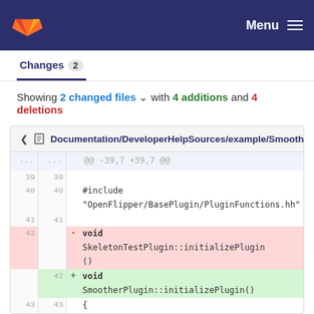Menu
Changes 2
Showing 2 changed files with 4 additions and 4 deletions
| old line | new line | sign | code |
| --- | --- | --- | --- |
| ... | ... |  | @@ -39,7 +39,7 @@ |
| 39 | 39 |  |  |
| 40 | 40 |  | #include "OpenFlipper/BasePlugin/PluginFunctions.hh" |
| 41 | 41 |  |  |
| 42 |  | - | void SkeletonTestPlugin::initializePlugin() |
|  | 42 | + | void SmootherPlugin::initializePlugin() |
| 43 | 43 |  | { |